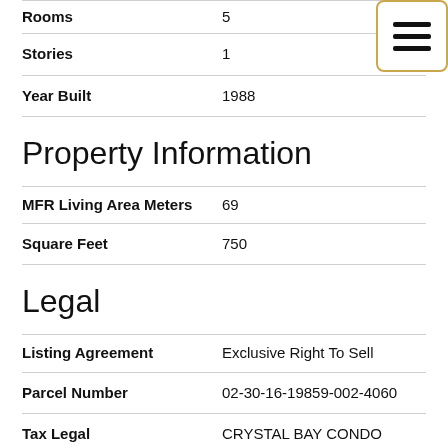| Field | Value |
| --- | --- |
| Rooms | 5 |
| Stories | 1 |
| Year Built | 1988 |
Property Information
| Field | Value |
| --- | --- |
| MFR Living Area Meters | 69 |
| Square Feet | 750 |
Legal
| Field | Value |
| --- | --- |
| Listing Agreement | Exclusive Right To Sell |
| Parcel Number | 02-30-16-19859-002-4060 |
| Tax Legal | CRYSTAL BAY CONDO PHASE |